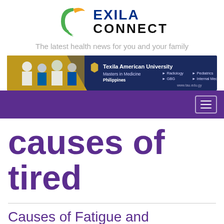[Figure (logo): Exila Connect logo with green/orange swoosh graphic and blue 'EXILA' text with black 'CONNECT' text]
The latest health news for you and your family
[Figure (illustration): Texila American University banner ad showing medical professionals and text: Masters in Medicine Philippines, Radiology, Pediatrics, GBG, Internal Medicine, www.tau.edu.gy]
[Figure (other): Purple navigation bar with hamburger menu button]
causes of tired
Causes of Fatigue and Sleepiness and How to